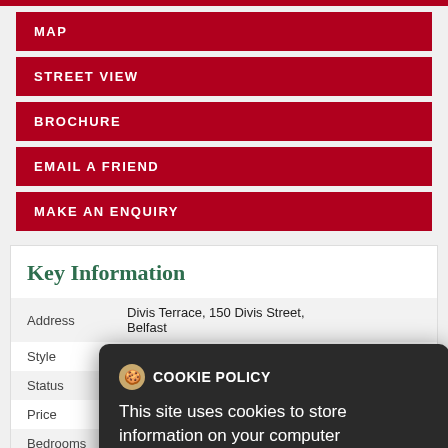MAP
STREET VIEW
BROCHURE
EMAIL A FRIEND
MAKE AN ENQUIRY
Key Information
| Field | Value |
| --- | --- |
| Address | Divis Terrace, 150 Divis Street, Belfast |
| Style | Terrace House |
| Status | Sale agreed |
| Price |  |
| Bedrooms | 3 |
COOKIE POLICY
This site uses cookies to store information on your computer
Read more
OK